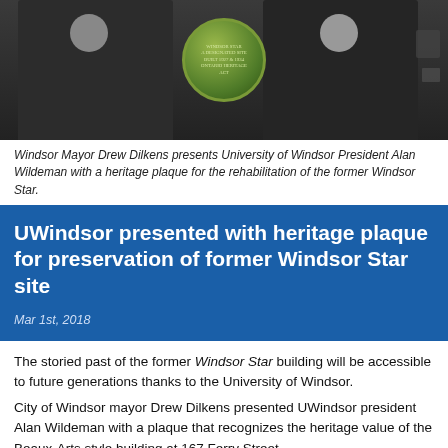[Figure (photo): Two people in dark suits, one presenting a circular green heritage plaque to the other, in an indoor setting.]
Windsor Mayor Drew Dilkens presents University of Windsor President Alan Wildeman with a heritage plaque for the rehabilitation of the former Windsor Star.
UWindsor presented with heritage plaque for preservation of former Windsor Star site
Mar 1st, 2018
The storied past of the former Windsor Star building will be accessible to future generations thanks to the University of Windsor.
City of Windsor mayor Drew Dilkens presented UWindsor president Alan Wildeman with a plaque that recognizes the heritage value of the Beaux-Arts style building at 167 Ferry Street.